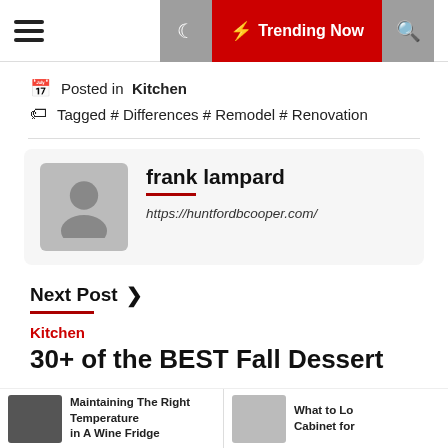Trending Now
Posted in Kitchen
Tagged # Differences # Remodel # Renovation
frank lampard
https://huntfordbcooper.com/
Next Post ›
Kitchen
30+ of the BEST Fall Dessert
Maintaining The Right Temperature in A Wine Fridge
What to Lo Cabinet for